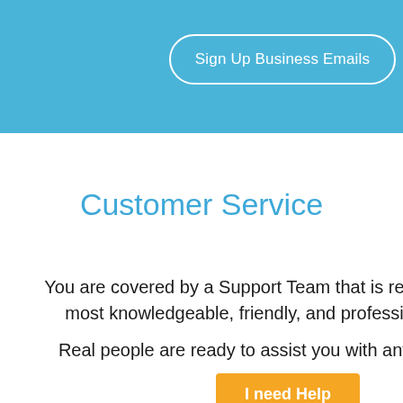[Figure (other): Blue header background banner]
Sign Up Business Emails
Customer Service
You are covered by a Support Team that is renowned f most knowledgeable, friendly, and professional in
Real people are ready to assist you with any issue,
I need Help